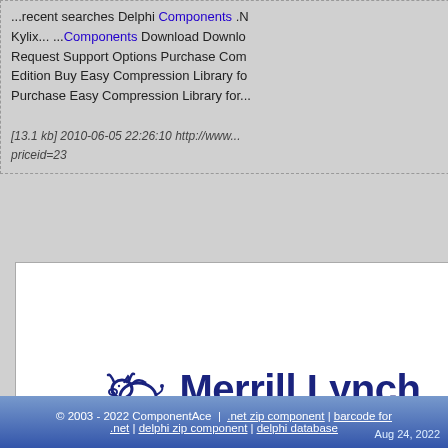...recent searches Delphi Components .N Kylix... ...Components Download Downlo Request Support Options Purchase Com Edition Buy Easy Compression Library fo Purchase Easy Compression Library for...
[13.1 kb] 2010-06-05 22:26:10 http://www... priceid=23
1 2 3 4 5 6 7 8
[Figure (logo): Merrill Lynch logo with bull icon and company name in dark blue]
Testimonials
I don't think I've ever had a better support experience in regard to any of the 3rd party tools we use.

Tim Stickley
Decision Modeling Inc.
© 2003 - 2022 ComponentAce  |  .net zip component | barcode for .net | delphi zip component | delphi database    Aug 24, 2022